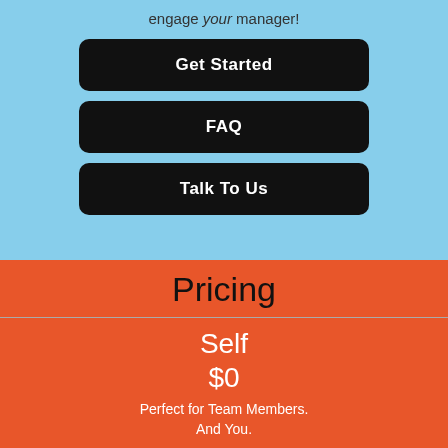engage your manager!
Get Started
FAQ
Talk To Us
Pricing
Self
$0
Perfect for Team Members. And You.
Career Planner